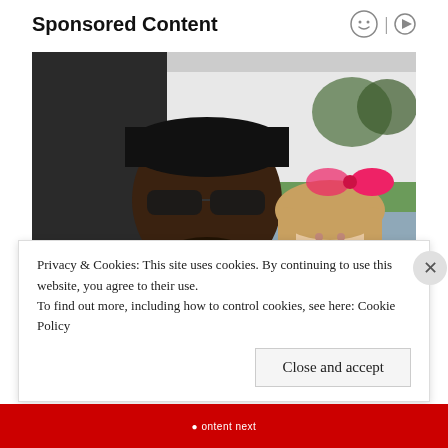Sponsored Content
[Figure (photo): A smiling man wearing sunglasses and a black cap posing with a young blonde girl wearing a pink bow, outdoors near a vehicle and grass.]
Privacy & Cookies: This site uses cookies. By continuing to use this website, you agree to their use.
To find out more, including how to control cookies, see here: Cookie Policy
Close and accept